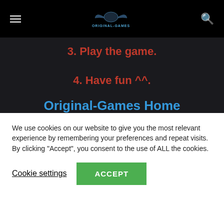Original-Games navigation header with hamburger menu, logo, and search icon
3. Play the game.
4. Have fun ^^.
Original-Games Home
System Requirement
We use cookies on our website to give you the most relevant experience by remembering your preferences and repeat visits. By clicking “Accept”, you consent to the use of ALL the cookies.
Cookie settings
ACCEPT